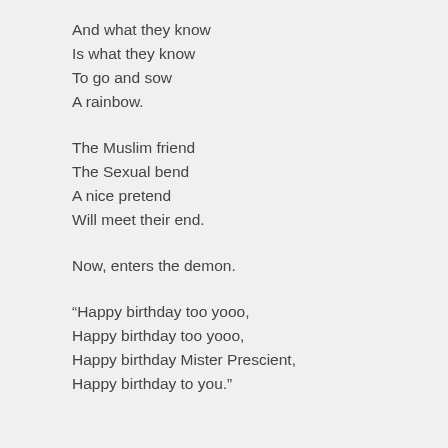And what they know
Is what they know
To go and sow
A rainbow.
The Muslim friend
The Sexual bend
A nice pretend
Will meet their end.
Now, enters the demon.
“Happy birthday too yooo,
Happy birthday too yooo,
Happy birthday Mister Prescient,
Happy birthday to you.”